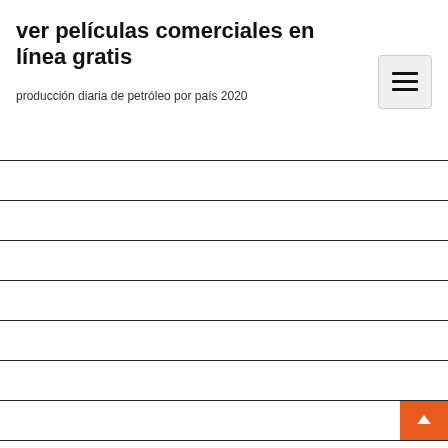ver películas comerciales en línea gratis
producción diaria de petróleo por país 2020
Tipo de cambio según nepal rastra bank
Obtener una buena tasa de hipoteca
Símbolo de bloomberg barclays índice de bonos agregados
Símbolo de índice compuesto nasdaq
¿cómo invierto en reservas de petróleo_
Comentarios de plata de control de dinero
Cotizaciones de tanques de tanques
Acciones más negociadas por debajo de $ 5
Matemáticas inmobiliarias fácil en línea gratis